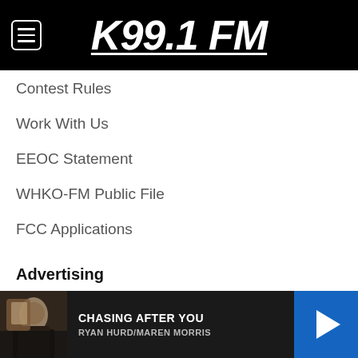K99.1 FM
Contest Rules
Work With Us
EEOC Statement
WHKO-FM Public File
FCC Applications
Advertising
Advertise With Us
Help
[Figure (other): Media player bar showing album art thumbnail, song title CHASING AFTER YOU by RYAN HURD/MAREN MORRIS, and a blue play button]